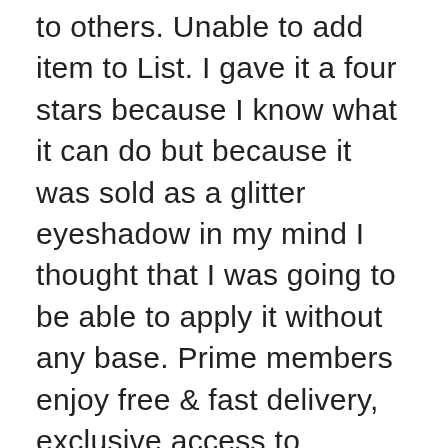to others. Unable to add item to List. I gave it a four stars because I know what it can do but because it was sold as a glitter eyeshadow in my mind I thought that I was going to be able to apply it without any base. Prime members enjoy free & fast delivery, exclusive access to movies, TV shows, games, and more. Colors easy to apply & wash off. 19,99 € 19,99 € (19,99 €/unité) Livraison à 0,01€ seulement pour votre première commande expédiée par Amazon. The DE'LANCI aurora glow eyeshadow makeup kit will allow you to discover! DE'LANCI Aurora Glow 24 Colors Eyeshadow Palette Neon Glow In the Dark UV / Blacklight, The neon glitter eyeshadow palettes are gentle on the skin and comfortable, perfect for professional or home use.